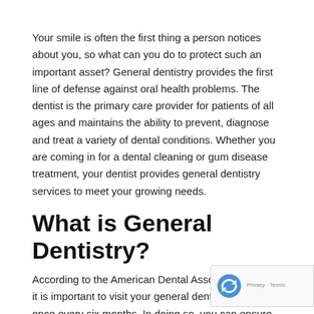Your smile is often the first thing a person notices about you, so what can you do to protect such an important asset? General dentistry provides the first line of defense against oral health problems. The dentist is the primary care provider for patients of all ages and maintains the ability to prevent, diagnose and treat a variety of dental conditions. Whether you are coming in for a dental cleaning or gum disease treatment, your dentist provides general dentistry services to meet your growing needs.
What is General Dentistry?
According to the American Dental Association (ADA), it is important to visit your general dentist at least once every six months. In doing so, you can ensure proper oral health and functionality. Regular oral health check-ups are available to prevent the development of